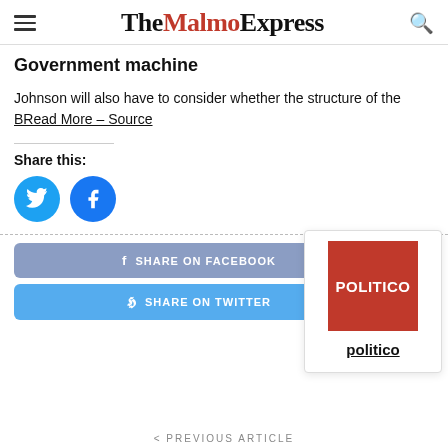The Malmo Express
Government machine
Johnson will also have to consider whether the structure of the B
BRead More – Source
Share this:
[Figure (infographic): Twitter and Facebook share icon circles (blue)]
[Figure (infographic): Share on Facebook and Share on Twitter buttons]
[Figure (logo): Politico logo card — red square with POLITICO text, and bold underlined 'politico' below]
< PREVIOUS ARTICLE